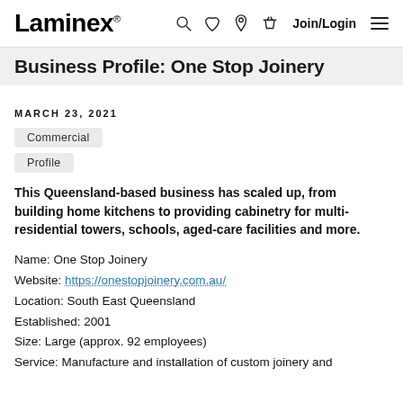Laminex | Business Profile: One Stop Joinery
Business Profile: One Stop Joinery
MARCH 23, 2021
Commercial
Profile
This Queensland-based business has scaled up, from building home kitchens to providing cabinetry for multi-residential towers, schools, aged-care facilities and more.
Name: One Stop Joinery
Website: https://onestopjoinery.com.au/
Location: South East Queensland
Established: 2001
Size: Large (approx. 92 employees)
Service: Manufacture and installation of custom joinery and